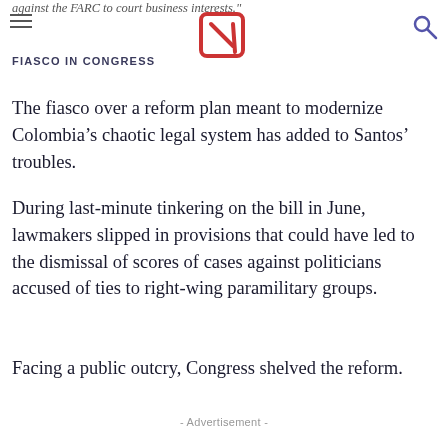against the FARC to court business interests."
FIASCO IN CONGRESS
The fiasco over a reform plan meant to modernize Colombia’s chaotic legal system has added to Santos’ troubles.
During last-minute tinkering on the bill in June, lawmakers slipped in provisions that could have led to the dismissal of scores of cases against politicians accused of ties to right-wing paramilitary groups.
Facing a public outcry, Congress shelved the reform.
- Advertisement -